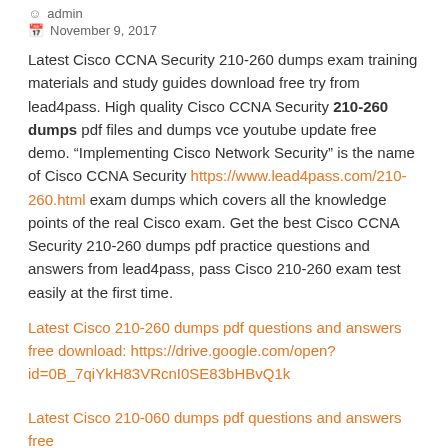admin
November 9, 2017
Latest Cisco CCNA Security 210-260 dumps exam training materials and study guides download free try from lead4pass. High quality Cisco CCNA Security 210-260 dumps pdf files and dumps vce youtube update free demo. “Implementing Cisco Network Security” is the name of Cisco CCNA Security https://www.lead4pass.com/210-260.html exam dumps which covers all the knowledge points of the real Cisco exam. Get the best Cisco CCNA Security 210-260 dumps pdf practice questions and answers from lead4pass, pass Cisco 210-260 exam test easily at the first time.
Latest Cisco 210-260 dumps pdf questions and answers free download: https://drive.google.com/open?id=0B_7qiYkH83VRcnI0SE83bHBvQ1k
Latest Cisco 210-060 dumps pdf questions and answers free